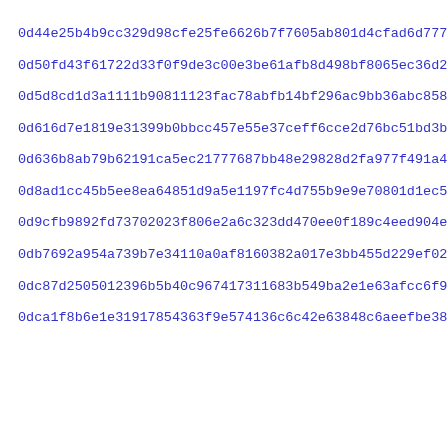0d44e25b4b9cc329d98cfe25fe6626b7f7605ab801d4cfad6d777fda86325
0d50fd43f61722d33f0f9de3c00e3be61afb8d498bf8065ec36d2b55c8218
0d5d8cd1d3a1111b90811123fac78abfb14bf296ac9bb36abc8581cceb534
0d616d7e1819e31399b0bbcc457e55e37ceff6cce2d76bc51bd3beb253777
0d636b8ab79b62191ca5ec21777687bb48e29828d2fa977f491a479e8ab7e
0d8ad1cc45b5ee8ea64851d9a5e1197fc4d755b9e9e70801d1ec5fa849353
0d9cfb9892fd73702023f806e2a6c323dd470ee0f189c4eed904eb72ea7a2
0db7692a954a739b7e34110a0af8160382a017e3bb455d229ef020950fc90
0dc87d2505012396b5b40c967417311683b549ba2e1e63afcc6f95b1f74d5
0dca1f8b6e1e31917854363f9e574136c6c42e63848c6aeefbe3838b43a3f